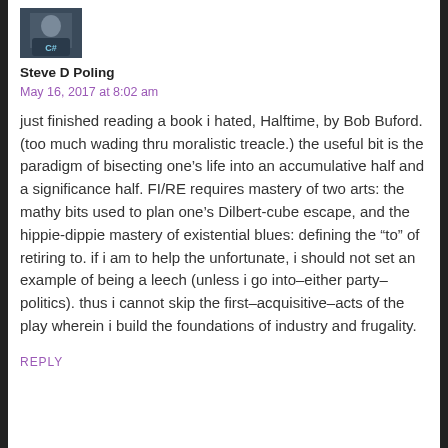[Figure (photo): Small avatar photo of a person wearing a shirt with 'C#' on it]
Steve D Poling
May 16, 2017 at 8:02 am
just finished reading a book i hated, Halftime, by Bob Buford. (too much wading thru moralistic treacle.) the useful bit is the paradigm of bisecting one’s life into an accumulative half and a significance half. FI/RE requires mastery of two arts: the mathy bits used to plan one’s Dilbert-cube escape, and the hippie-dippie mastery of existential blues: defining the “to” of retiring to. if i am to help the unfortunate, i should not set an example of being a leech (unless i go into–either party–politics). thus i cannot skip the first–acquisitive–acts of the play wherein i build the foundations of industry and frugality.
REPLY